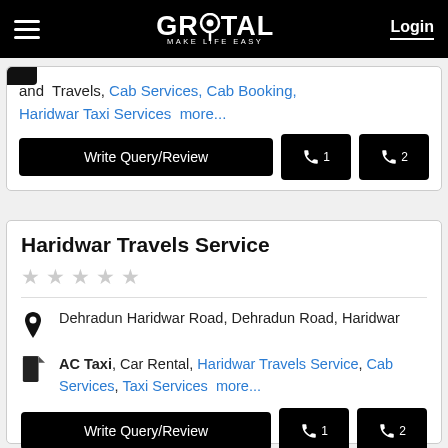GROTAL MAKE LIFE EASY | Login
and Travels, Cab Services, Cab Booking, Haridwar Taxi Services more...
Write Query/Review | Phone 1 | Phone 2
Haridwar Travels Service
★★★★★ (empty stars)
Dehradun Haridwar Road, Dehradun Road, Haridwar
AC Taxi, Car Rental, Haridwar Travels Service, Cab Services, Taxi Services more...
Write Query/Review | Phone 1 | Phone 2